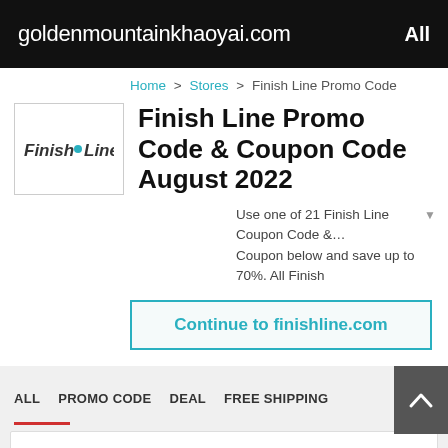goldenmountainkhaoyai.com   All
Home > Stores > Finish Line Promo Code
Finish Line Promo Code & Coupon Code August 2022
Use one of 21 Finish Line Coupon Code &... Coupon below and save up to 70%. All Finish
Continue to finishline.com
ALL   PROMO CODE   DEAL   FREE SHIPPING
50%OFF